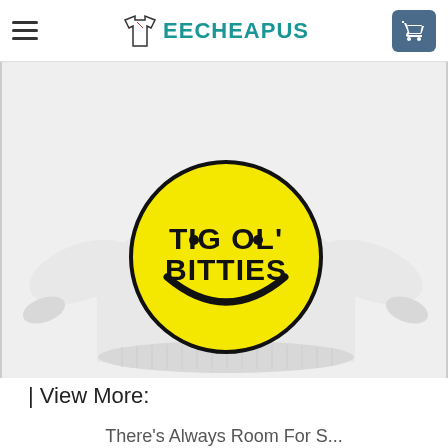TEECHEAPUS
[Figure (photo): A white crewneck sweatshirt featuring a yellow smiley face circle graphic with the text 'TIG OL' BITTIES' in bold black lettering on the chest area.]
| View More:
There's Always Room For S...